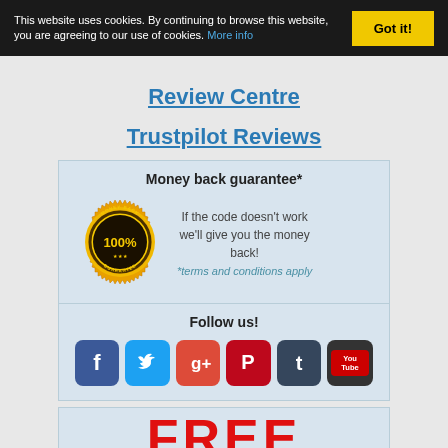This website uses cookies. By continuing to browse this website, you are agreeing to our use of cookies. More info | Got it!
Review Centre
Trustpilot Reviews
[Figure (infographic): Money back guarantee box with gold 100% money back guarantee seal and text: If the code doesn't work we'll give you the money back! *terms and conditions apply]
[Figure (infographic): Follow us section with social media icons: Facebook, Twitter, Google+, Pinterest, Tumblr, YouTube]
FREE